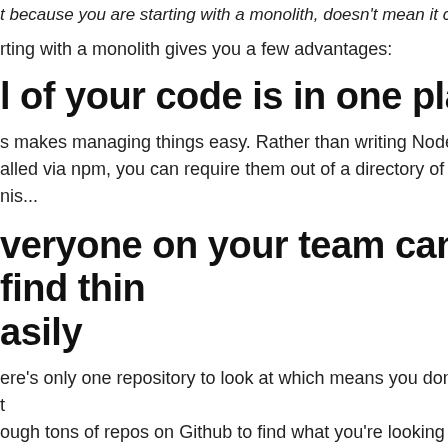t because you are starting with a monolith, doesn't mean it can't...
rting with a monolith gives you a few advantages:
l of your code is in one place
s makes managing things easy. Rather than writing Node modules installed via npm, you can require them out of a directory of your project. This...
veryone on your team can find things easily
ere's only one repository to look at which means you dont have to dig through tons of repos on Github to find what you're looking for. Git encourages, so the excuse of "there are too many people doing too many things" is really a poor one. Instead, learn how to properly use branches, so your team can work...